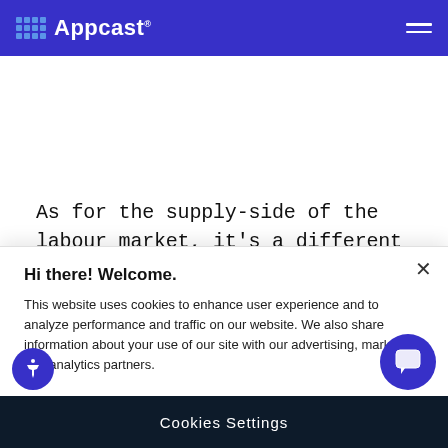Appcast
As for the supply-side of the labour market, it’s a different story. A smaller share of 16-to 64-year olds are employed now than before
Hi there! Welcome.
This website uses cookies to enhance user experience and to analyze performance and traffic on our website. We also share information about your use of our site with our advertising, marketing, and analytics partners.
Cookies Settings